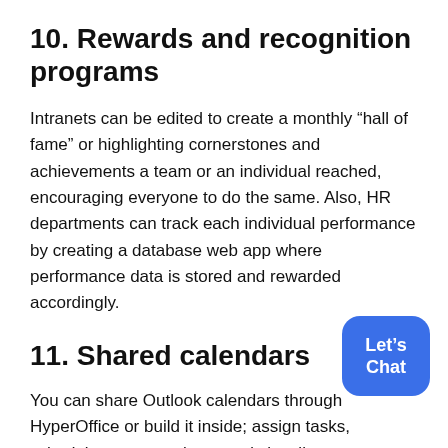10. Rewards and recognition programs
Intranets can be edited to create a monthly “hall of fame” or highlighting cornerstones and achievements a team or an individual reached, encouraging everyone to do the same. Also, HR departments can track each individual performance by creating a database web app where performance data is stored and rewarded accordingly.
11. Shared calendars
You can share Outlook calendars through HyperOffice or build it inside; assign tasks, schedule team members, and visualize your projects pipelines. Below, you can see an example
[Figure (other): Blue chat button widget with text 'Let's Chat' in the bottom-right corner of the page]